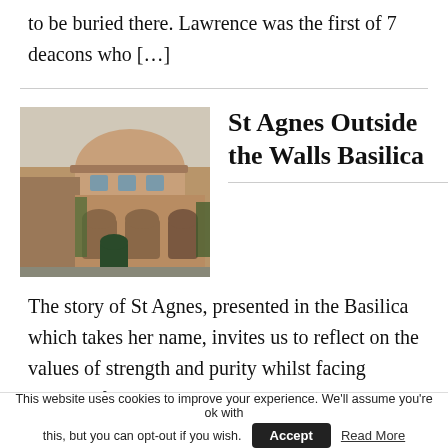to be buried there. Lawrence was the first of 7 deacons who […]
[Figure (photo): Exterior photo of St Agnes Outside the Walls Basilica, a historic brick building with rounded upper structure and arched entrance.]
St Agnes Outside the Walls Basilica
The story of St Agnes, presented in the Basilica which takes her name, invites us to reflect on the values of strength and purity whilst facing earthly life
This website uses cookies to improve your experience. We'll assume you're ok with this, but you can opt-out if you wish. Accept Read More